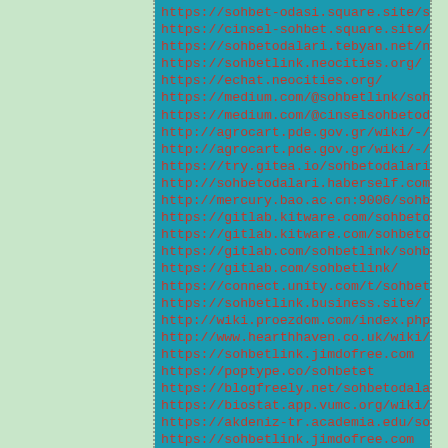https://sohbet-odasi.square.site/sohbet
https://cinsel-sohbet.square.site/
https://sohbetodalari.tebyan.net/newindex.aspx
https://sohbetlink.neocities.org/
https://echat.neocities.org/
https://medium.com/@sohbetlink/sohbet-d29ed90bb
https://medium.com/@cinselsohbetodalari
http://agrocart.pde.gov.gr/wiki/-/wiki/Main/Cin
http://agrocart.pde.gov.gr/wiki/-/wiki/Main/Soh
https://try.gitea.io/sohbetodalari
http://sohbetodalari.haberself.com/h/61683/
http://mercury.bao.ac.cn:9006/sohbet
https://gitlab.kitware.com/sohbetodalari/sohbet
https://gitlab.kitware.com/sohbetodalari/sohbet
https://gitlab.com/sohbetlink/sohbetlink.gitlab
https://gitlab.com/sohbetlink/
https://connect.unity.com/t/sohbetlink
https://sohbetlink.business.site/
http://wiki.proezdom.com/index.php/Sohbetodalar
http://www.hearthhaven.co.uk/wiki/index.php/Soh
https://sohbetlink.jimdofree.com
https://poptype.co/sohbetet
https://blogfreely.net/sohbetodalari/
https://biostat.app.vumc.org/wiki/Main/SohBet
https://akdeniz-tr.academia.edu/sohbet
https://sohbetlink.jimdofree.com
https://sohbetodalari.eigenstart.nl/